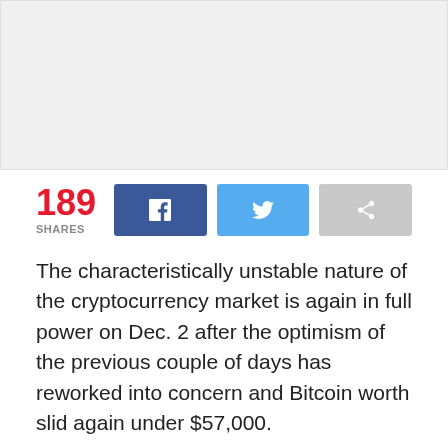[Figure (photo): Gray placeholder image area at top of article page]
189 SHARES
The characteristically unstable nature of the cryptocurrency market is again in full power on Dec. 2 after the optimism of the previous couple of days has reworked into concern and Bitcoin worth slid again under $57,000.
Regardless of the stress being exerted on lots of the high cryptocurrencies, a number of altcoins have managed to buck the development and put up double-digit positive factors on Dec. 2.
Related articles